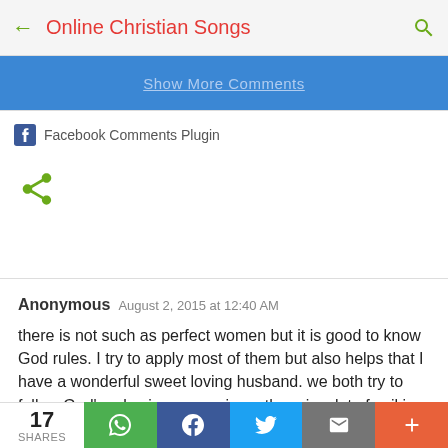Online Christian Songs
[Figure (screenshot): Partially visible blue 'Show More Comments' button]
Facebook Comments Plugin
[Figure (other): Share icon (green)]
Anonymous  August 2, 2015 at 12:40 AM
there is not such as perfect women but it is good to know God rules. I try to apply most of them but also helps that I have a wonderful sweet loving husband. we both try to follow God's rules in our marriage. there is a lot of evil in this world now days that the
17 SHARES